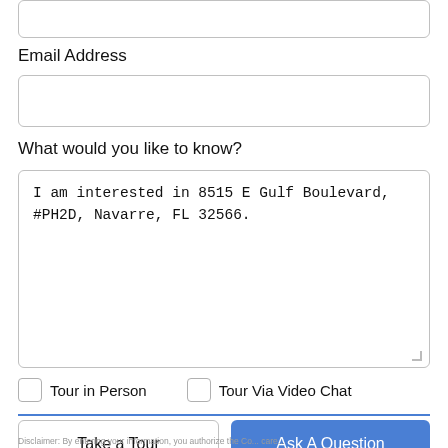Email Address
What would you like to know?
I am interested in 8515 E Gulf Boulevard, #PH2D, Navarre, FL 32566.
Tour in Person
Tour Via Video Chat
Take a Tour
Ask A Question
Disclaimer: By entering your information, you authorize the Co... and...